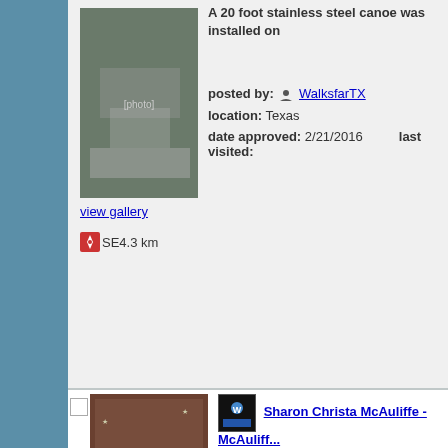[Figure (photo): Outdoor photo of a stainless steel canoe sculpture installation]
view gallery
SE4.3 km
A 20 foot stainless steel canoe was installed on
posted by: WalksfarTX
location: Texas
date approved: 2/21/2016   last visited:
[Figure (photo): Dark bronze commemorative plaque with stars, related to Sharon Christa McAuliffe]
view gallery
SE4.7 km
Sharon Christa McAuliffe - McAuliffe... Texas
in Extraterrestrial Locations
A member of the Space Shuttle Challenger Crew, Christa McAuliffe was died tragically on lift-off as catastrophic failure of an o-ring on a solid rocket flight.
posted by: wildwoodke
location: Texas
date approved: 7/31/2008   last visited:
[Figure (photo): Black and white photo of Nichols-Rice-Cherry House]
Nichols - Rice - Cherry House